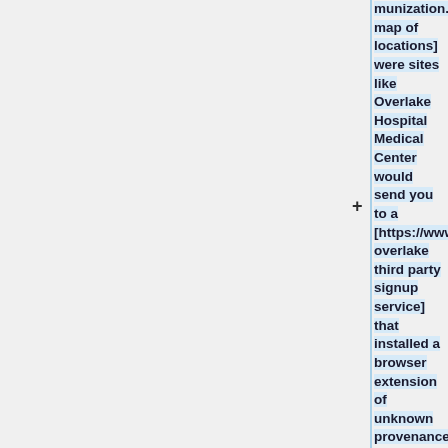munization.VaccineLocations map of locations] were sites like Overlake Hospital Medical Center would send you to a [https://www.signupgenius.com/tabs/doh-overlake third party signup service] that installed a browser extension of unknown provenance. That "sign-up service" installed